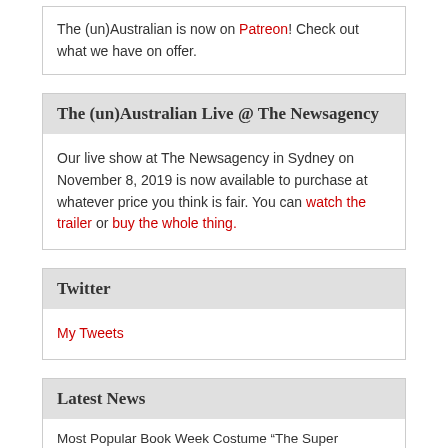The (un)Australian is now on Patreon! Check out what we have on offer.
The (un)Australian Live @ The Newsagency
Our live show at The Newsagency in Sydney on November 8, 2019 is now available to purchase at whatever price you think is fair. You can watch the trailer or buy the whole thing.
Twitter
My Tweets
Latest News
Most Popular Book Week Costume “The Super Competitive Parent Who Has To Be Best At Everything” 24/08/2022